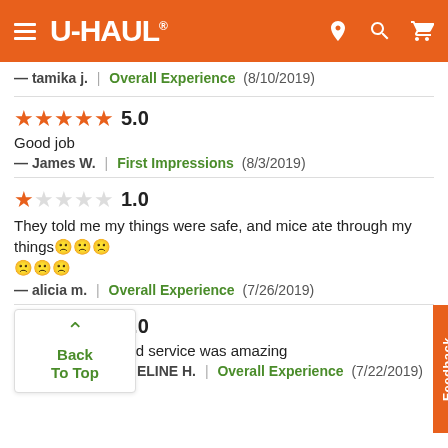U-HAUL
— tamika j.  |  Overall Experience  (8/10/2019)
★★★★★ 5.0
Good job
— James W.  |  First Impressions  (8/3/2019)
★☆☆☆☆ 1.0
They told me my things were safe, and mice ate through my things🙁🙁🙁🙁🙁🙁
— alicia m.  |  Overall Experience  (7/26/2019)
★★★★★ 5.0
and service was amazing
— ELINE H.  |  Overall Experience  (7/22/2019)